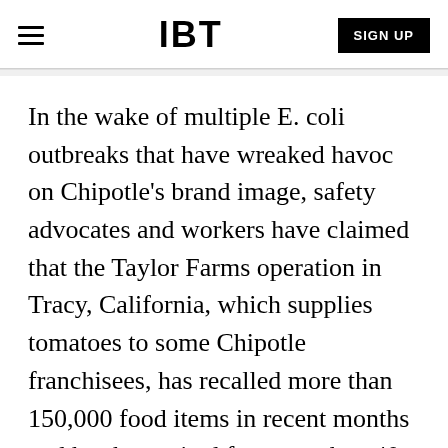IBT | SIGN UP
In the wake of multiple E. coli outbreaks that have wreaked havoc on Chipotle's brand image, safety advocates and workers have claimed that the Taylor Farms operation in Tracy, California, which supplies tomatoes to some Chipotle franchisees, has recalled more than 150,000 food items in recent months and has been cited for more than 40 health and safety violations.